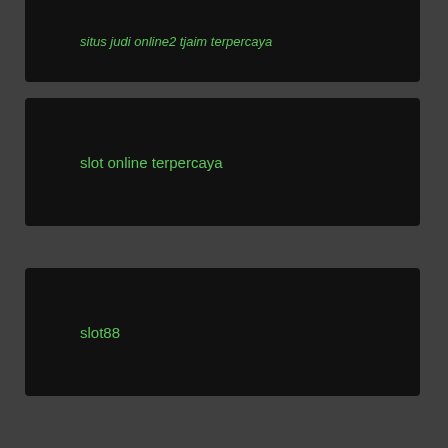situs judi online2 tjaim terpercaya
slot online terpercaya
slot88
judi online
situs judi slot online